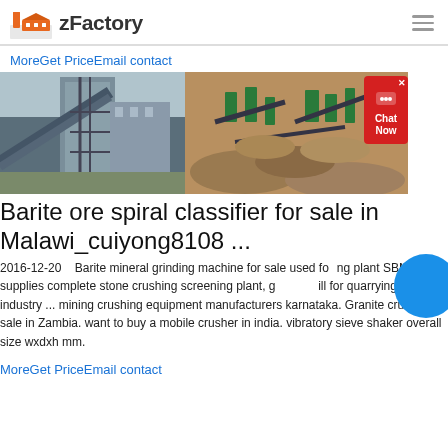zFactory
MoreGet PriceEmail contact
[Figure (photo): Two industrial mining/crushing facility photos side by side: left shows a large industrial plant structure with conveyor belts and steel framework; right shows an aerial view of a stone crushing and screening plant with machinery and gravel piles.]
Barite ore spiral classifier for sale in Malawi_cuiyong8108  ...
2016-12-20    Barite mineral grinding machine for sale used for grinding plant SBM supplies complete stone crushing screening plant, grinding mill for quarrying, mining industry ... mining crushing equipment manufacturers karnataka. Granite crusher for sale in Zambia. want to buy a mobile crusher in india. vibratory sieve shaker overall size wxdxh mm.
MoreGet PriceEmail contact